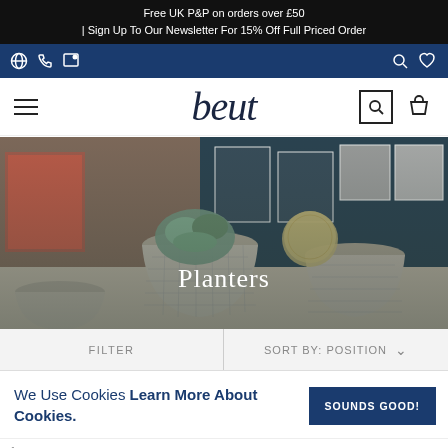Free UK P&P on orders over £50 | Sign Up To Our Newsletter For 15% Off Full Priced Order
[Figure (screenshot): Website navigation icon bar with globe, phone, chat icons on left and search/wishlist icons on right, dark blue background]
[Figure (logo): Beut logo in italic serif font with hamburger menu, search and cart icons]
[Figure (photo): Hero image showing large ceramic/concrete planters holding succulents and cacti on a table, with artwork on dark blue wall in background. 'Planters' title text overlaid in white.]
FILTER
SORT BY: POSITION
We Use Cookies Learn More About Cookies.
SOUNDS GOOD!
1
[Figure (photo): Bottom of page showing partial product thumbnails — dark cylindrical planters at bottom of viewport]